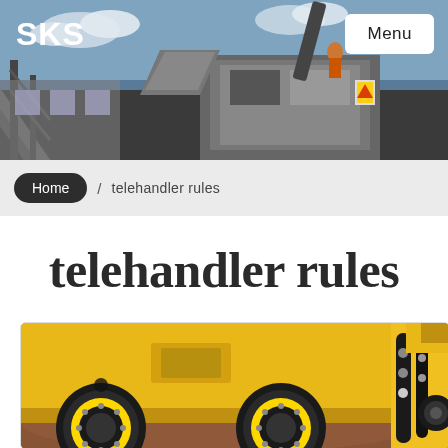[Figure (photo): Industrial machinery / crushing plant with conveyor belts, workers visible on the structure, outdoor industrial site with blue sky and clouds]
SKS
Menu
Home / telehandler rules
telehandler rules
[Figure (photo): Close-up of yellow telehandler vehicle wheels and chassis on a concrete floor, with hydraulic hose attachments visible on the right side]